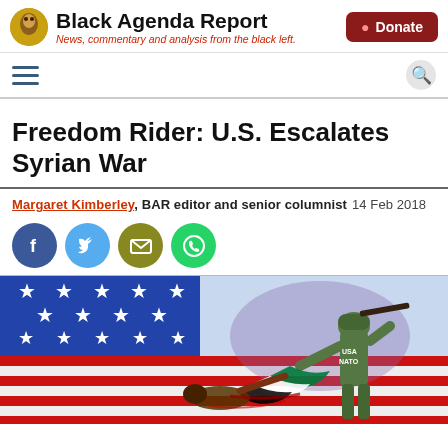Black Agenda Report — News, commentary and analysis from the black left. | Donate
Freedom Rider: U.S. Escalates Syrian War
Margaret Kimberley, BAR editor and senior columnist 14 Feb 2018
[Figure (illustration): Political illustration showing soldiers labeled USA and NATO pulling a Syrian flag draped over a fallen figure, set against an American flag background with stars.]